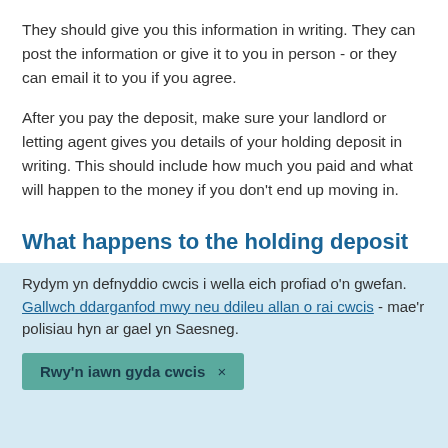They should give you this information in writing. They can post the information or give it to you in person - or they can email it to you if you agree.
After you pay the deposit, make sure your landlord or letting agent gives you details of your holding deposit in writing. This should include how much you paid and what will happen to the money if you don't end up moving in.
What happens to the holding deposit
Rydym yn defnyddio cwcis i wella eich profiad o'n gwefan. Gallwch ddarganfod mwy neu ddileu allan o rai cwcis - mae'r polisiau hyn ar gael yn Saesneg.
Rwy'n iawn gyda cwcis ×